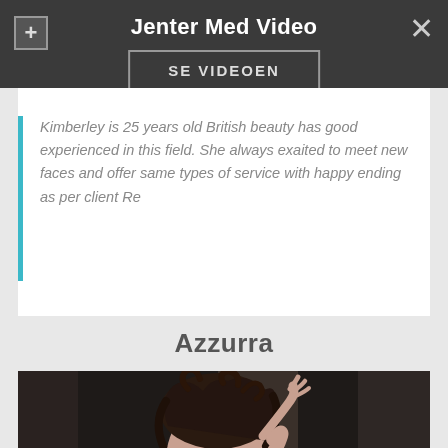Jenter Med Video
SE VIDEOEN
Kimberley is 25 years old British beauty has good experienced in this field. She always exaited to meet new faces and offer same types of service with happy ending as per client Re
Azzurra
[Figure (photo): Photo of a woman with dark curly/wavy hair styled up, hand raised to her hair, looking slightly downward, dark blurred background]